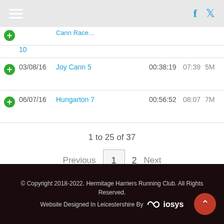Hermitage Harriers Running Club — navigation header with social icons
|  | Date | Race | Time | Pace | Cat |
| --- | --- | --- | --- | --- | --- |
|  | 03/08/16 | Joy Cann 5 | 00:38:19 | 07:39 | 5M |
|  | 06/07/16 | Hungarton 7 | 00:56:52 | 08:07 | 7M |
1 to 25 of 37
Previous  1  2  Next
© Copyright 2018-2022. Hermitage Harriers Running Club. All Rights Reserved. Website Designed In Leicestershire By iosys